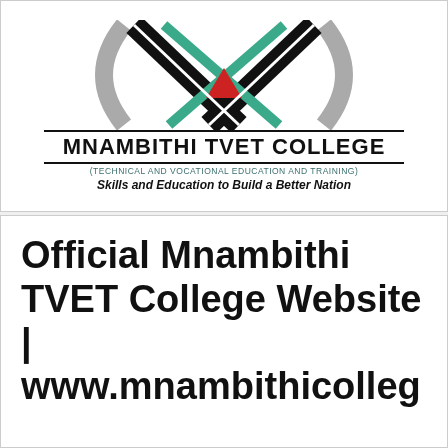[Figure (logo): Mnambithi TVET College logo with interlocking X shapes in black, teal/green, and gray with a red triangle, above the college name and tagline]
Official Mnambithi TVET College Website | www.mnambithicolleg